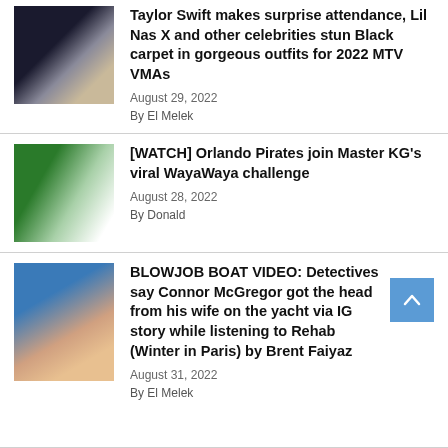[Figure (photo): Thumbnail image of celebrities at 2022 MTV VMAs]
Taylor Swift makes surprise attendance, Lil Nas X and other celebrities stun Black carpet in gorgeous outfits for 2022 MTV VMAs
August 29, 2022
By El Melek
[Figure (photo): Thumbnail image of Orlando Pirates football team doing WayaWaya challenge]
[WATCH] Orlando Pirates join Master KG's viral WayaWaya challenge
August 28, 2022
By Donald
[Figure (photo): Thumbnail image of Conor McGregor shirtless]
BLOWJOB BOAT VIDEO: Detectives say Connor McGregor got the head from his wife on the yacht via IG story while listening to Rehab (Winter in Paris) by Brent Faiyaz
August 31, 2022
By El Melek